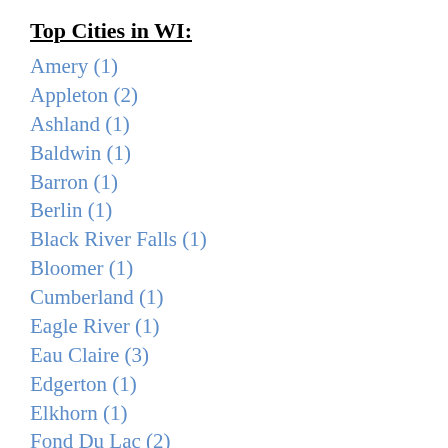Top Cities in WI:
Amery (1)
Appleton (2)
Ashland (1)
Baldwin (1)
Barron (1)
Berlin (1)
Black River Falls (1)
Bloomer (1)
Cumberland (1)
Eagle River (1)
Eau Claire (3)
Edgerton (1)
Elkhorn (1)
Fond Du Lac (2)
Fort Atkinson (1)
Franklin (1)
Friendship (1)
Green Bay (7)